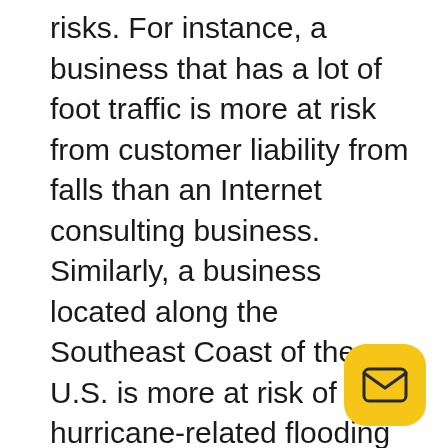risks. For instance, a business that has a lot of foot traffic is more at risk from customer liability from falls than an Internet consulting business. Similarly, a business located along the Southeast Coast of the U.S. is more at risk of hurricane-related flooding or property damage than a company in Seattle, Washington. Prioritizing risks in terms of probability, cost and need is a good place to begin reviewing business insurance needs.
[Figure (other): Yellow rounded square button with an envelope/email icon in dark outline style]